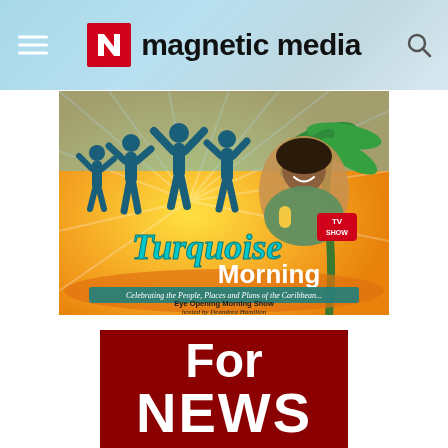[Figure (logo): Magnetic Media logo with red N icon and bold black text 'magnetic media' on a blue-gray ocean background header]
[Figure (illustration): Turquoise Morning TV Show promotional banner: orange/yellow background with sunburst, silhouettes of people celebrating, palm tree, woman host smiling, script 'Turquoise Morning' logo, tagline 'Celebrating the People, Places and Plans of the Caribbean...', 'Eye Opening Morning Show hosted by Deandrea Hamilton']
[Figure (illustration): Dark red banner with large white bold text reading 'For NEWS']